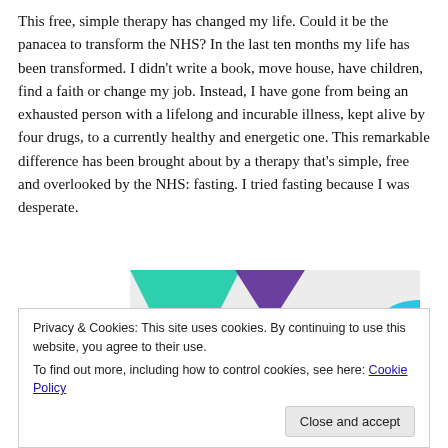This free, simple therapy has changed my life. Could it be the panacea to transform the NHS? In the last ten months my life has been transformed. I didn't write a book, move house, have children, find a faith or change my job. Instead, I have gone from being an exhausted person with a lifelong and incurable illness, kept alive by four drugs, to a currently healthy and energetic one. This remarkable difference has been brought about by a therapy that's simple, free and overlooked by the NHS: fasting. I tried fasting because I was desperate.
[Figure (infographic): Advertisement banner with colorful shapes (green triangle, purple triangle, cyan curve) on a light grey background. Bold text reads 'How to start selling subscriptions online' with a purple 'Start a new store' button.]
Privacy & Cookies: This site uses cookies. By continuing to use this website, you agree to their use.
To find out more, including how to control cookies, see here: Cookie Policy
Close and accept